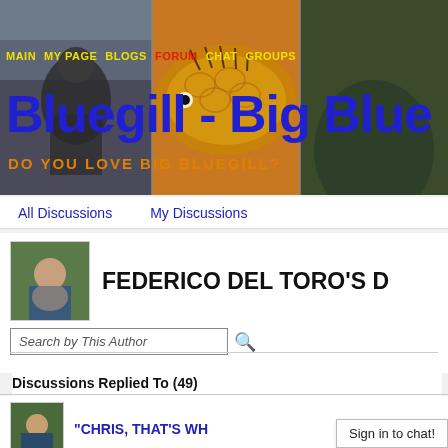[Figure (photo): Website header banner showing a fisherman holding a large bluegill fish, with a close-up of a sunfish/bluegill in the center, and nature imagery on the right]
MAIN  MY PAGE  BLOGS  FORUM  CHAT  GROUPS
Bluegill - Big Blue
DO YOU LOVE BIG BLUEGILL?
All Discussions    My Discussions
[Figure (photo): User avatar showing a person holding a fish outdoors]
FEDERICO DEL TORO'S D
Search by This Author
Discussions Replied To (49)
"CHRIS, THAT'S WH
Sign in to chat!